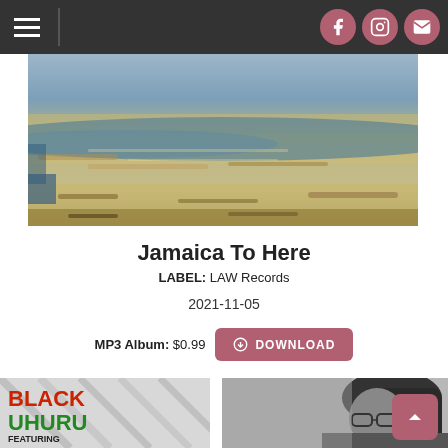[Figure (screenshot): Website navigation bar with hamburger menu icon on left, vertical divider, and three circular social media icons (Facebook, Instagram, Email) on the right, on dark grey background]
[Figure (photo): Abstract oil-painting-style textured landscape image with blue, yellow, and green colors, used as album art hero banner]
Jamaica To Here
LABEL: LAW Records
2021-11-05
MP3 Album: $0.99
[Figure (screenshot): Download button with circular arrow icon labeled DOWNLOAD on a mauve/rose background]
[Figure (photo): Black Uhuru album cover thumbnail showing bold red, green, and yellow text: BLACK UHURU FEATURING...]
[Figure (photo): Black and white photo thumbnail of a person with dreadlocks and glasses]